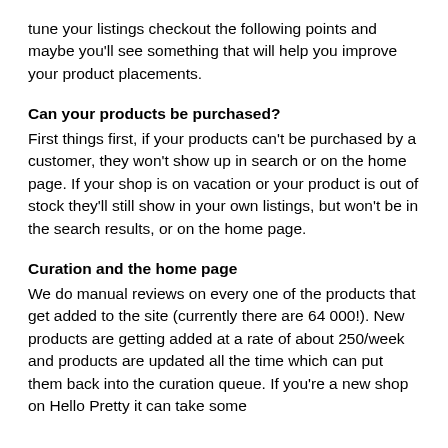tune your listings checkout the following points and maybe you'll see something that will help you improve your product placements.
Can your products be purchased?
First things first, if your products can't be purchased by a customer, they won't show up in search or on the home page. If your shop is on vacation or your product is out of stock they'll still show in your own listings, but won't be in the search results, or on the home page.
Curation and the home page
We do manual reviews on every one of the products that get added to the site (currently there are 64 000!). New products are getting added at a rate of about 250/week and products are updated all the time which can put them back into the curation queue. If you're a new shop on Hello Pretty it can take some